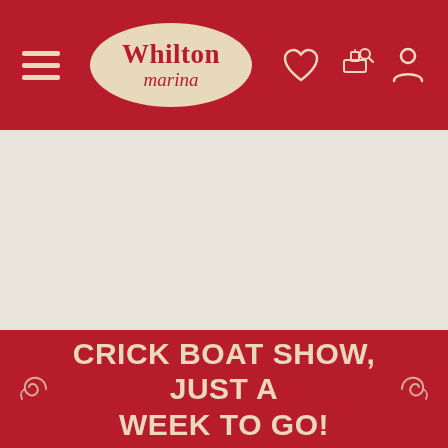Whilton marina — navigation header with hamburger menu, logo, heart icon, boat search icon, account icon
[Figure (screenshot): Large empty beige/cream area, appears to be a placeholder for a main content image]
CRICK BOAT SHOW, JUST A WEEK TO GO!